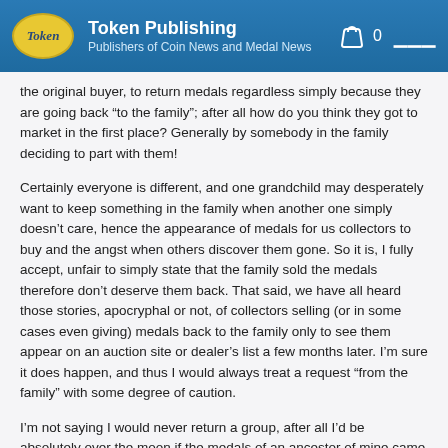Token Publishing
Publishers of Coin News and Medal News
the original buyer, to return medals regardless simply because they are going back “to the family”; after all how do you think they got to market in the first place? Generally by somebody in the family deciding to part with them!
Certainly everyone is different, and one grandchild may desperately want to keep something in the family when another one simply doesn’t care, hence the appearance of medals for us collectors to buy and the angst when others discover them gone. So it is, I fully accept, unfair to simply state that the family sold the medals therefore don’t deserve them back. That said, we have all heard those stories, apocryphal or not, of collectors selling (or in some cases even giving) medals back to the family only to see them appear on an auction site or dealer’s list a few months later. I’m sure it does happen, and thus I would always treat a request “from the family” with some degree of caution.
I’m not saying I would never return a group, after all I’d be absolutely over the moon if the medals of an ancestor of mine came back to me. But I’m a cynic and I think I’d only let something go if I was absolutely certain of the connection. I am aware that